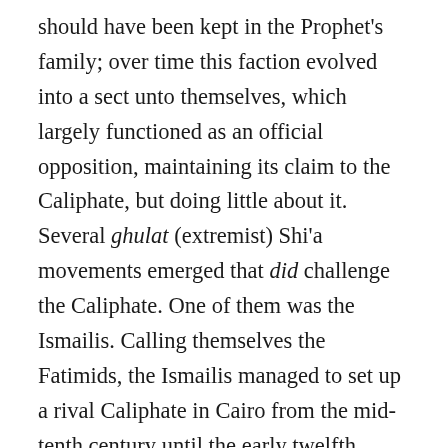should have been kept in the Prophet's family; over time this faction evolved into a sect unto themselves, which largely functioned as an official opposition, maintaining its claim to the Caliphate, but doing little about it. Several ghulat (extremist) Shi'a movements emerged that did challenge the Caliphate. One of them was the Ismailis. Calling themselves the Fatimids, the Ismailis managed to set up a rival Caliphate in Cairo from the mid-tenth century until the early twelfth century that covered most of North Africa and western Syria. A radical splinter of the Ismailis, the Nizaris, broke with the Fatimids in the late eleventh century and for the next century-and-a-half waged a campaign of terror against the Sunni order from bases in Persia and then Syria. In the late